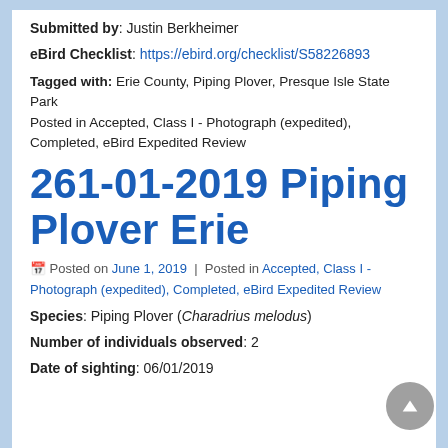Submitted by: Justin Berkheimer
eBird Checklist: https://ebird.org/checklist/S58226893
Tagged with: Erie County, Piping Plover, Presque Isle State Park
Posted in Accepted, Class I - Photograph (expedited), Completed, eBird Expedited Review
261-01-2019 Piping Plover Erie
Posted on June 1, 2019 | Posted in Accepted, Class I - Photograph (expedited), Completed, eBird Expedited Review
Species: Piping Plover (Charadrius melodus)
Number of individuals observed: 2
Date of sighting: 06/01/2019